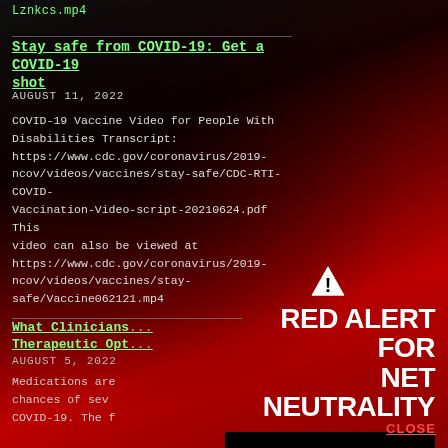Lznkcs.mp4
Stay safe from COVID-19: Get a COVID-19 shot
AUGUST 11, 2022
COVID-19 Vaccine Video for People With Disabilities Transcript: https://www.cdc.gov/coronavirus/2019-ncov/videos/vaccines/stay-safe/CDC-RTI-COVID-Vaccination-Video-script-20210624.pdf This video can also be viewed at https://www.cdc.gov/coronavirus/2019-ncov/videos/vaccines/stay-safe/Vaccine062121.mp4
What Clinicians... Therapeutic Opt...
AUGUST 5, 2022
Medications are... chances of sev... COVID-19. The f...
[Figure (infographic): Red Alert for Net Neutrality overlay with warning triangle icon, bold white text reading RED ALERT FOR NET NEUTRALITY, a black TAKE ACTION button, and a red CLOSE link in the bottom right corner.]